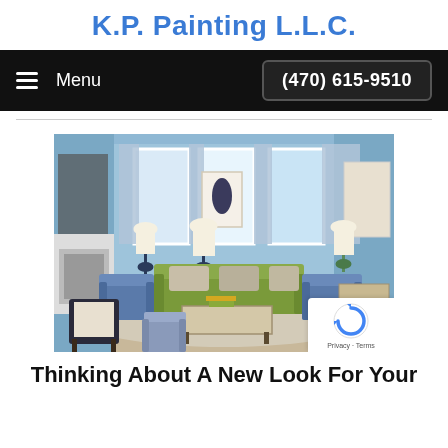K.P. Painting L.L.C.
Menu   (470) 615-9510
[Figure (photo): Interior living room with light blue painted walls, green sofa, blue armchairs, patterned curtains, lamps, and artwork on walls.]
Thinking About A New Look For Your